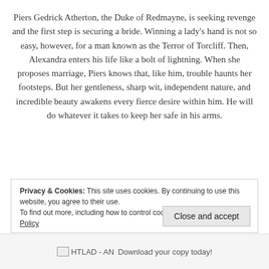Piers Gedrick Atherton, the Duke of Redmayne, is seeking revenge and the first step is securing a bride. Winning a lady's hand is not so easy, however, for a man known as the Terror of Torcliff. Then, Alexandra enters his life like a bolt of lightning. When she proposes marriage, Piers knows that, like him, trouble haunts her footsteps. But her gentleness, sharp wit, independent nature, and incredible beauty awakens every fierce desire within him. He will do whatever it takes to keep her safe in his arms.
Privacy & Cookies: This site uses cookies. By continuing to use this website, you agree to their use. To find out more, including how to control cookies, see here: Cookie Policy
Close and accept
[Figure (other): Broken image placeholder labeled HTLAD - AN followed by text 'Download your copy today!']